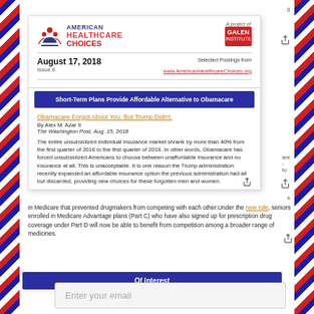[Figure (logo): American Healthcare Choices logo with red and blue figures, beside Galen Institute logo]
August 17, 2018
Issue 6
Selected Postings from www.AmericanHealthcareChoices.org
Short-Term Plans Provide Affordable Alternative to Obamacare
Obamacare Forgot About You. But Trump Didn't.
By Alex M. Azar II
The Washington Post, Aug. 15, 2018
The entire unsubsidized individual insurance market shrank by more than 40% from the first quarter of 2016 to the first quarter of 2018. In other words, Obamacare has forced unsubsidized Americans to choose between unaffordable insurance and no insurance at all. This is unacceptable. It is one reason the Trump administration recently expanded an affordable insurance option the previous administration had all but discarded, providing new choices for these forgotten men and women.
in Medicare that prevented drugmakers from competing with each other. Under the new rule, seniors enrolled in Medicare Advantage plans (Part C) who have also signed up for prescription drug coverage under Part D will now be able to benefit from competition among a broader range of medicines.
Of Interest
Enter your email